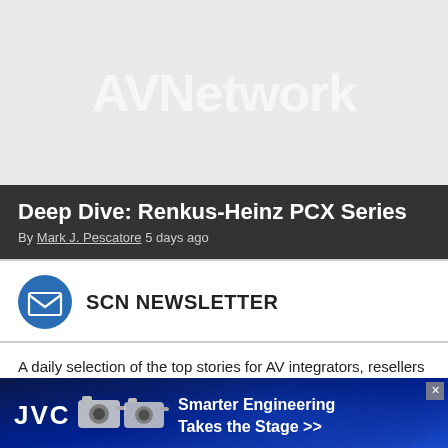[Figure (logo): AVNetwork logo watermark on light grey background]
Deep Dive: Renkus-Heinz PCX Series
By Mark J. Pescatore 5 days ago
[Figure (infographic): SCN Newsletter signup widget with envelope icon]
A daily selection of the top stories for AV integrators, resellers and consultants. Sign up below.
[Figure (infographic): JVC advertisement banner: Smarter Engineering Takes the Stage >>]